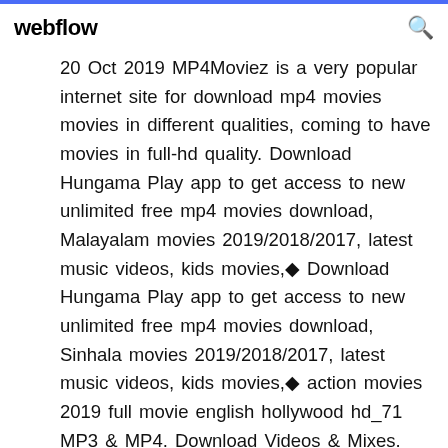webflow
20 Oct 2019 MP4Moviez is a very popular internet site for download mp4 movies movies in different qualities, coming to have movies in full-hd quality. Download Hungama Play app to get access to new unlimited free mp4 movies download, Malayalam movies 2019/2018/2017, latest music videos, kids movies,◆ Download Hungama Play app to get access to new unlimited free mp4 movies download, Sinhala movies 2019/2018/2017, latest music videos, kids movies,◆ action movies 2019 full movie english hollywood hd_71 MP3 & MP4. Download Videos & Mixes. July 9, 2019 by Movie 1,041 Views◆ Cinema Sign, Theater sign, Movie Night, Home Theater Room Art Decor Max Over Room...